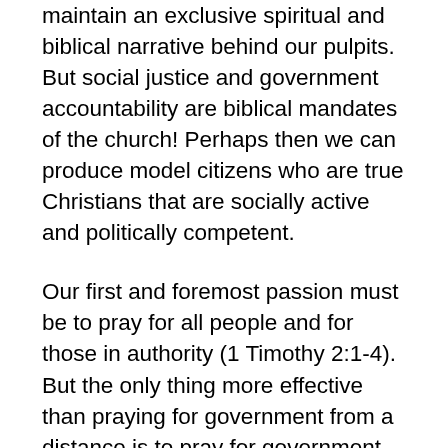maintain an exclusive spiritual and biblical narrative behind our pulpits. But social justice and government accountability are biblical mandates of the church! Perhaps then we can produce model citizens who are true Christians that are socially active and politically competent.
Our first and foremost passion must be to pray for all people and for those in authority (1 Timothy 2:1-4). But the only thing more effective than praying for government from a distance is to pray for government within the chambers of government. But prayer has never been God's final responsibility for the Church. The biblical concept of God's blessing has always demanded the recipients' responsibility and work. When God promised Israel a land flowing with milk and honey, they correctly understood that they